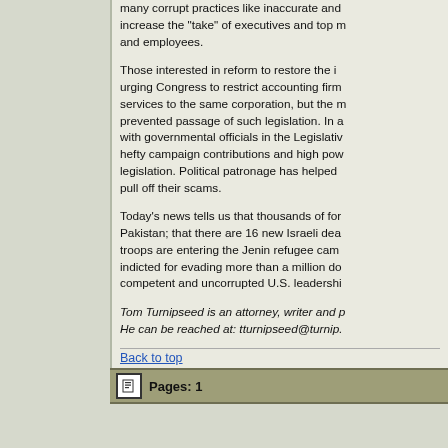many corrupt practices like inaccurate and increase the "take" of executives and top m and employees.
Those interested in reform to restore the i urging Congress to restrict accounting firm services to the same corporation, but the m prevented passage of such legislation. In a with governmental officials in the Legislativ hefty campaign contributions and high pow legislation. Political patronage has helped pull off their scams.
Today's news tells us that thousands of for Pakistan; that there are 16 new Israeli dea troops are entering the Jenin refugee cam indicted for evading more than a million do competent and uncorrupted U.S. leadershi
Tom Turnipseed is an attorney, writer and p He can be reached at: tturnipseed@turnip.
Back to top
Pages: 1